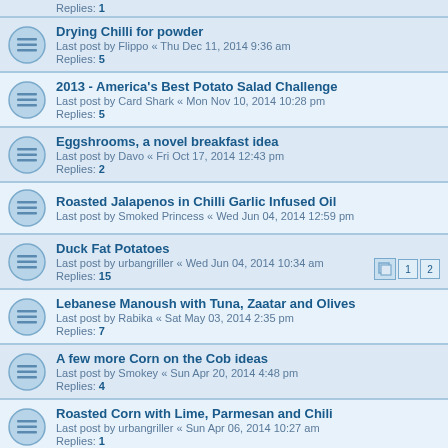Replies: 1
Drying Chilli for powder
Last post by Flippo « Thu Dec 11, 2014 9:36 am
Replies: 5
2013 - America's Best Potato Salad Challenge
Last post by Card Shark « Mon Nov 10, 2014 10:28 pm
Replies: 5
Eggshrooms, a novel breakfast idea
Last post by Davo « Fri Oct 17, 2014 12:43 pm
Replies: 2
Roasted Jalapenos in Chilli Garlic Infused Oil
Last post by Smoked Princess « Wed Jun 04, 2014 12:59 pm
Duck Fat Potatoes
Last post by urbangriller « Wed Jun 04, 2014 10:34 am
Replies: 15
Lebanese Manoush with Tuna, Zaatar and Olives
Last post by Rabika « Sat May 03, 2014 2:35 pm
Replies: 7
A few more Corn on the Cob ideas
Last post by Smokey « Sun Apr 20, 2014 4:48 pm
Replies: 4
Roasted Corn with Lime, Parmesan and Chili
Last post by urbangriller « Sun Apr 06, 2014 10:27 am
Replies: 1
SOUTHERN STYLE BAKED BEANS
Last post by Card Shark « Mon Jan 06, 2014 2:13 pm
Replies: 11